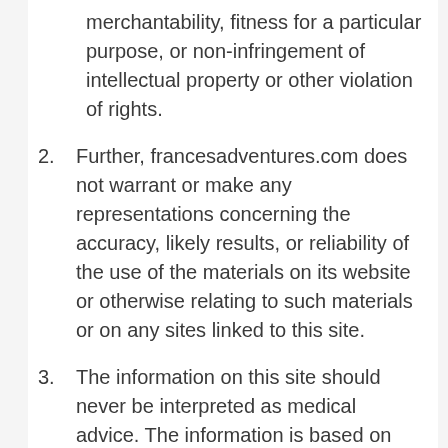merchantability, fitness for a particular purpose, or non-infringement of intellectual property or other violation of rights.
2. Further, francesadventures.com does not warrant or make any representations concerning the accuracy, likely results, or reliability of the use of the materials on its website or otherwise relating to such materials or on any sites linked to this site.
3. The information on this site should never be interpreted as medical advice. The information is based on the opinion of the author and other contributors as referenced and is intended to motivate readers to make their own health and nutrition decisions under the guidance and advice of their healthcare provider. The